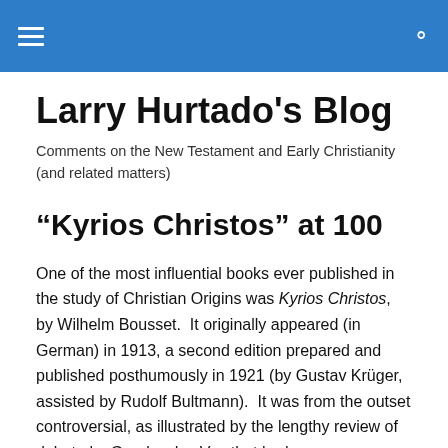Larry Hurtado's Blog — navigation header
Larry Hurtado's Blog
Comments on the New Testament and Early Christianity (and related matters)
“Kyrios Christos” at 100
One of the most influential books ever published in the study of Christian Origins was Kyrios Christos, by Wilhelm Bousset.  It originally appeared (in German) in 1913, a second edition prepared and published posthumously in 1921 (by Gustav Krüger, assisted by Rudolf Bultmann).  It was from the outset controversial, as illustrated by the lengthy review of debate by Geerhardus Vos that had